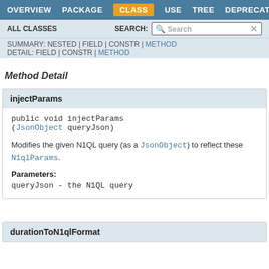OVERVIEW  PACKAGE  CLASS  USE  TREE  DEPRECATED
ALL CLASSES  SEARCH:
SUMMARY: NESTED | FIELD | CONSTR | METHOD  DETAIL: FIELD | CONSTR | METHOD
Method Detail
injectParams
Modifies the given N1QL query (as a JsonObject) to reflect these N1qlParams.
Parameters:
queryJson - the N1QL query
durationToN1qlFormat